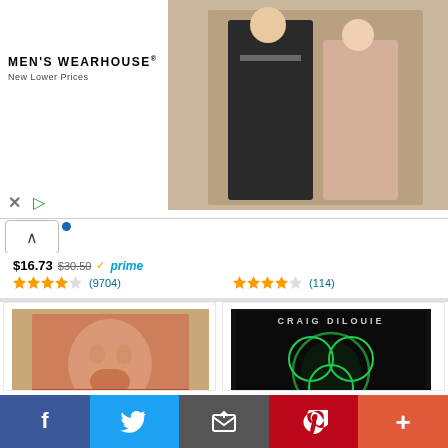[Figure (screenshot): Men's Wearhouse ad banner with couple in formal wear and man in suit]
[Figure (photo): Album cover: Infections of a Different Kind of Human Japan-Only edition]
[Figure (photo): Book cover: The Infection Omnibus: The Apocalyptic Zombie Trilogy by Craig DiLouie]
$16.73 $30.50 prime (9704 reviews, 4 stars)
(114 reviews, 4.5 stars)
Infections of a Different Kind of Human (Japan-Only)
$25.42 $44.99 prime (113 reviews, 5 stars)
The Infection Omnibus: The Apocalyptic Zombie Trilogy
$26.21 $29.95 (15 reviews, 4.5 stars)